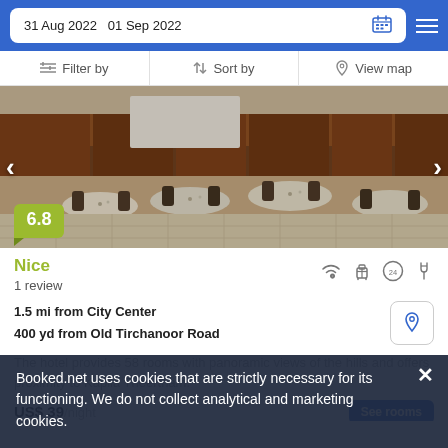31 Aug 2022   01 Sep 2022
Filter by   Sort by   View map
[Figure (photo): Interior of a hotel restaurant/dining room with wooden paneling, tables set with cutlery and glasses, chairs, and a tiled floor. Score badge showing 6.8 in green.]
Nice
1 review
1.5 mi from City Center
400 yd from Old Tirchanoor Road
The hotel provides 58 rooms with panoramic views of the hills and offers proximity to Kapila Theertham.
Booked.net uses cookies that are strictly necessary for its functioning. We do not collect analytical and marketing cookies.